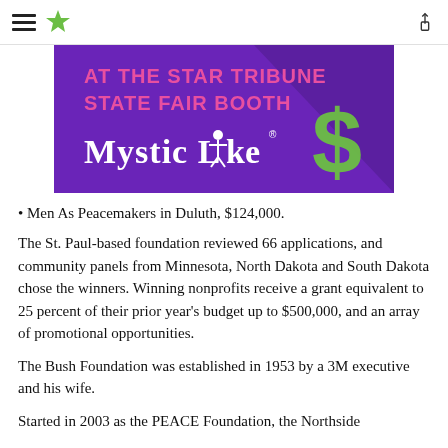Star Tribune navigation header with hamburger menu, star logo, and share icon
[Figure (illustration): Mystic Lake advertisement banner with purple background, text 'AT THE STAR TRIBUNE STATE FAIR BOOTH' in pink, 'Mystic Lake' logo in white, and a green dollar sign graphic]
Men As Peacemakers in Duluth, $124,000.
The St. Paul-based foundation reviewed 66 applications, and community panels from Minnesota, North Dakota and South Dakota chose the winners. Winning nonprofits receive a grant equivalent to 25 percent of their prior year's budget up to $500,000, and an array of promotional opportunities.
The Bush Foundation was established in 1953 by a 3M executive and his wife.
Started in 2003 as the PEACE Foundation, the Northside